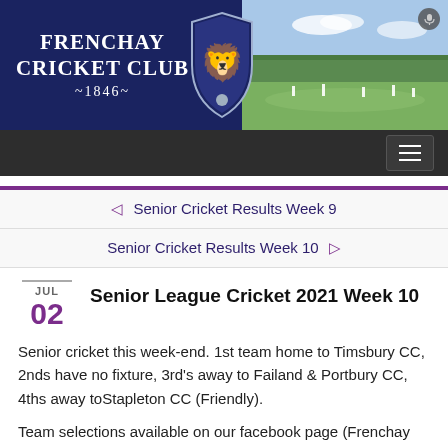[Figure (logo): Frenchay Cricket Club header banner with club name, shield logo, and cricket ground photo]
FRENCHAY CRICKET CLUB ~1846~
◁  Senior Cricket Results Week 9
Senior Cricket Results Week 10  ▷
Senior League Cricket 2021 Week 10
JUL 02
Senior cricket this week-end. 1st team home to Timsbury CC, 2nds have no fixture, 3rd's away to Failand & Portbury CC, 4ths away toStapleton CC (Friendly).
Team selections available on our facebook page (Frenchay